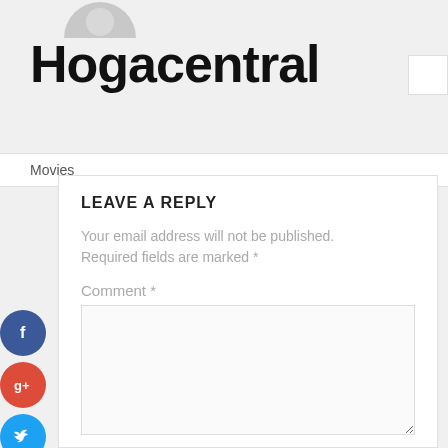[Figure (illustration): Partial avatar/profile image at top, grey silhouette]
Hogacentral
Movies
LEAVE A REPLY
Your email address will not be published. Required fields are marked *
Comment *
Name *